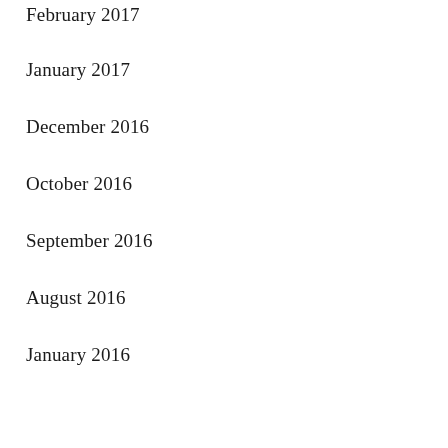February 2017
January 2017
December 2016
October 2016
September 2016
August 2016
January 2016